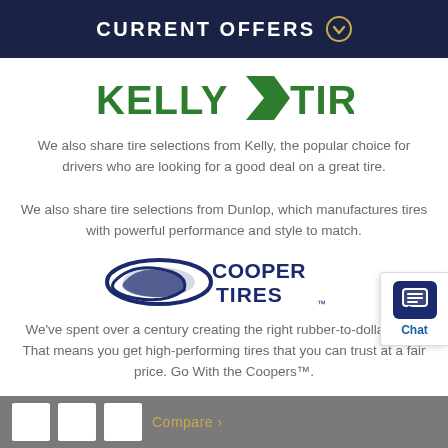CURRENT OFFERS
[Figure (logo): Kelly K' Tires logo in green bold text with a stylized K icon]
We also share tire selections from Kelly, the popular choice for drivers who are looking for a good deal on a great tire.
We also share tire selections from Dunlop, which manufactures tires with powerful performance and style to match.
[Figure (logo): Cooper Tires logo in dark navy blue with stylized wing/oval icon]
We've spent over a century creating the right rubber-to-dollar ratio. That means you get high-performing tires that you can trust at a fair price. Go With the Coopers™.
Compare